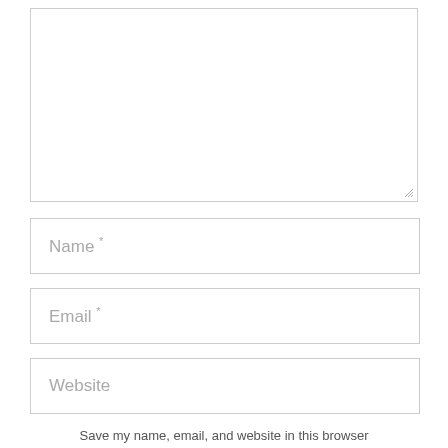[Figure (screenshot): Large empty textarea input box with a resize handle in the bottom-right corner]
Name *
Email *
Website
Save my name, email, and website in this browser